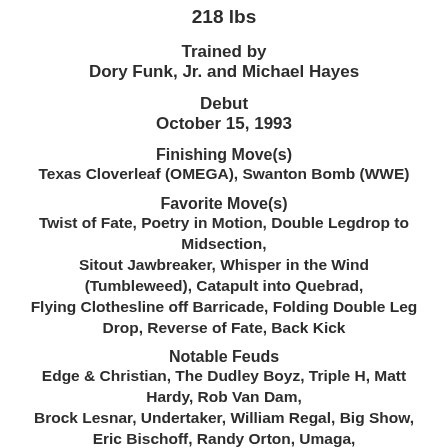218 lbs
Trained by
Dory Funk, Jr. and Michael Hayes
Debut
October 15, 1993
Finishing Move(s)
Texas Cloverleaf (OMEGA), Swanton Bomb (WWE)
Favorite Move(s)
Twist of Fate, Poetry in Motion, Double Legdrop to Midsection,
Sitout Jawbreaker, Whisper in the Wind (Tumbleweed), Catapult into Quebrad,
Flying Clothesline off Barricade, Folding Double Leg Drop, Reverse of Fate, Back Kick
Notable Feuds
Edge & Christian, The Dudley Boyz, Triple H, Matt Hardy, Rob Van Dam,
Brock Lesnar, Undertaker, William Regal, Big Show, Eric Bischoff, Randy Orton, Umaga,
Mr. Kennedy, C.M. Punk, Beer Money Inc., Mr.